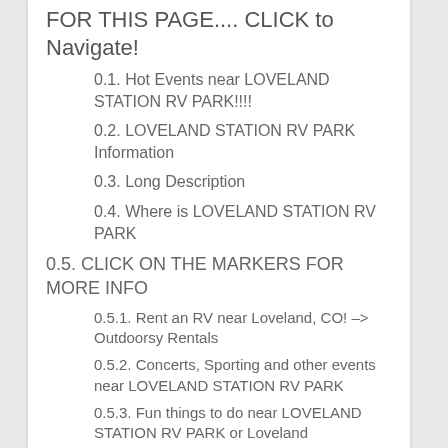FOR THIS PAGE.... CLICK to Navigate!
0.1. Hot Events near LOVELAND STATION RV PARK!!!!
0.2. LOVELAND STATION RV PARK Information
0.3. Long Description
0.4. Where is LOVELAND STATION RV PARK
0.5. CLICK ON THE MARKERS FOR MORE INFO
0.5.1. Rent an RV near Loveland, CO! -> Outdoorsy Rentals
0.5.2. Concerts, Sporting and other events near LOVELAND STATION RV PARK
0.5.3. Fun things to do near LOVELAND STATION RV PARK or Loveland
0.5.4. Day Trips near LOVELAND